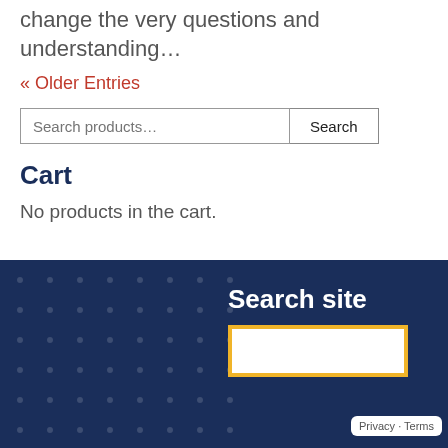change the very questions and understanding…
« Older Entries
Cart
No products in the cart.
Search site